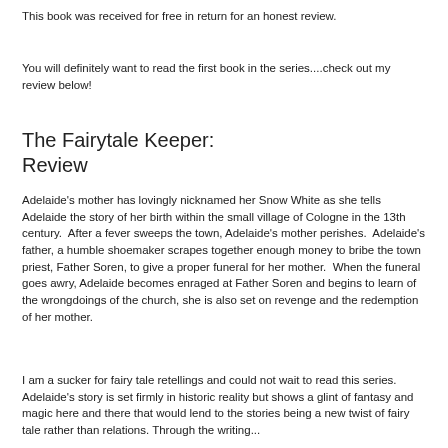This book was received for free in return for an honest review.
You will definitely want to read the first book in the series....check out my review below!
The Fairytale Keeper:
Review
Adelaide's mother has lovingly nicknamed her Snow White as she tells Adelaide the story of her birth within the small village of Cologne in the 13th century.  After a fever sweeps the town, Adelaide's mother perishes.  Adelaide's father, a humble shoemaker scrapes together enough money to bribe the town priest, Father Soren, to give a proper funeral for her mother.  When the funeral goes awry, Adelaide becomes enraged at Father Soren and begins to learn of the wrongdoings of the church, she is also set on revenge and the redemption of her mother.
I am a sucker for fairy tale retellings and could not wait to read this series.  Adelaide's story is set firmly in historic reality but shows a glint of fantasy and magic here and there that would lend to the stories being a new twist of fairy tale rather than relations. Through the writing...